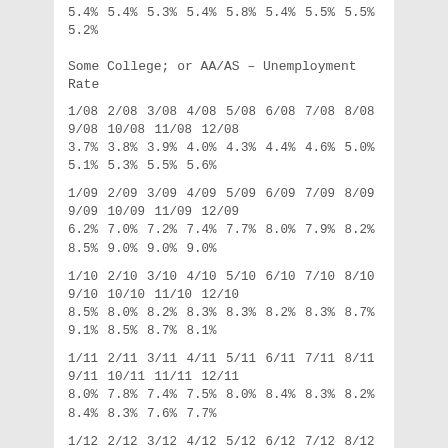5.4% 5.4% 5.3% 5.4% 5.8% 5.4% 5.5% 5.5% 5.2%
Some College; or AA/AS – Unemployment Rate
1/08 2/08 3/08 4/08 5/08 6/08 7/08 8/08 9/08 10/08 11/08 12/08
3.7% 3.8% 3.9% 4.0% 4.3% 4.4% 4.6% 5.0% 5.1% 5.3% 5.5% 5.6%
1/09 2/09 3/09 4/09 5/09 6/09 7/09 8/09 9/09 10/09 11/09 12/09
6.2% 7.0% 7.2% 7.4% 7.7% 8.0% 7.9% 8.2% 8.5% 9.0% 9.0% 9.0%
1/10 2/10 3/10 4/10 5/10 6/10 7/10 8/10 9/10 10/10 11/10 12/10
8.5% 8.0% 8.2% 8.3% 8.3% 8.2% 8.3% 8.7% 9.1% 8.5% 8.7% 8.1%
1/11 2/11 3/11 4/11 5/11 6/11 7/11 8/11 9/11 10/11 11/11 12/11
8.0% 7.8% 7.4% 7.5% 8.0% 8.4% 8.3% 8.2% 8.4% 8.3% 7.6% 7.7%
1/12 2/12 3/12 4/12 5/12 6/12 7/12 8/12 9/12 10/12 11/12